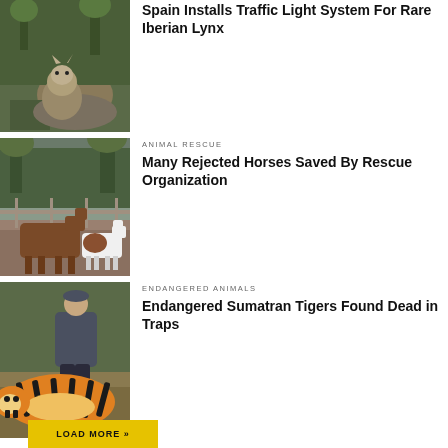[Figure (photo): Lynx sitting on a rock in a natural outdoor setting]
Spain Installs Traffic Light System For Rare Iberian Lynx
[Figure (photo): Horses standing in a muddy outdoor enclosure near a fence with trees in background]
ANIMAL RESCUE
Many Rejected Horses Saved By Rescue Organization
[Figure (photo): Person sitting next to a large Sumatran tiger lying on the ground]
ENDANGERED ANIMALS
Endangered Sumatran Tigers Found Dead in Traps
LOAD MORE »